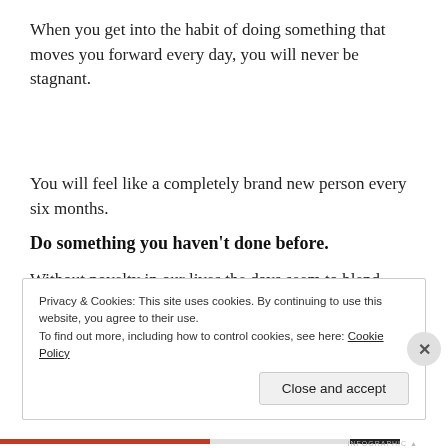When you get into the habit of doing something that moves you forward every day, you will never be stagnant.
You will feel like a completely brand new person every six months.
Do something you haven't done before.
Without novelty in our lives the days seem to blend
Privacy & Cookies: This site uses cookies. By continuing to use this website, you agree to their use.
To find out more, including how to control cookies, see here: Cookie Policy
Close and accept